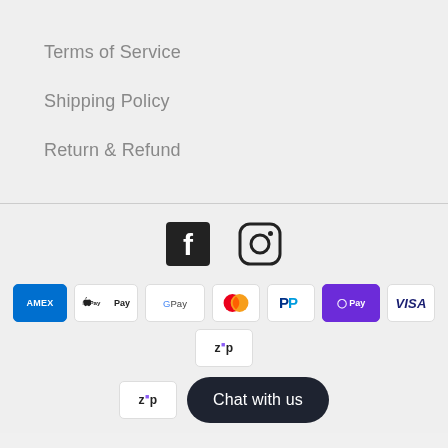Terms of Service
Shipping Policy
Return & Refund
[Figure (logo): Facebook and Instagram social media icons]
[Figure (infographic): Payment method badges: AMEX, Apple Pay, Google Pay, Mastercard, PayPal, OPay, VISA, Zip, and a second Zip badge. Chat with us button.]